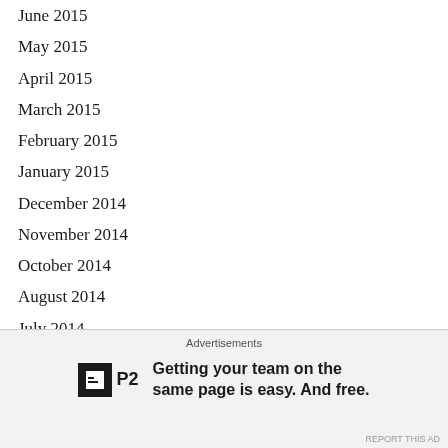June 2015
May 2015
April 2015
March 2015
February 2015
January 2015
December 2014
November 2014
October 2014
August 2014
July 2014
June 2014
May 2014
April 2014
March 2014
February 2014
Advertisements
[Figure (logo): P2 logo advertisement: Getting your team on the same page is easy. And free.]